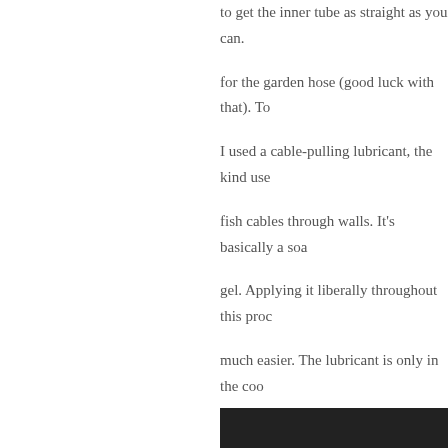to get the inner tube as straight as you can. for the garden hose (good luck with that). To I used a cable-pulling lubricant, the kind use fish cables through walls. It's basically a soa gel. Applying it liberally throughout this proc much easier. The lubricant is only in the coo chiller, don't worry about its effect on your b you should have the inner tube protruding fr least a couple inches beyond the end caps.
At this point, slide a couple hose clamps ove do this, you will absolutely hate yourself late
Now one of the end fittings is installed. Slid hole drilled in the copper end-cap. The 1/2" at least an inch inside the garden hose. Slid Now apply solder to seal around where the i
[Figure (photo): Dark photo showing construction detail of the chiller end fitting area]